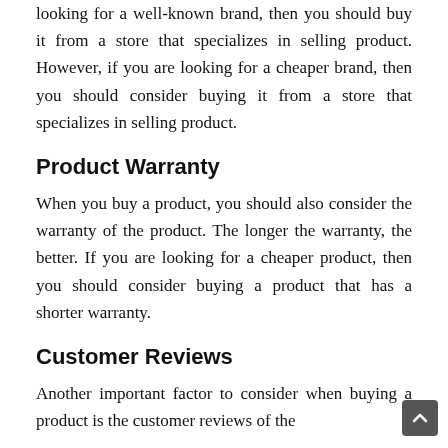looking for a well-known brand, then you should buy it from a store that specializes in selling product. However, if you are looking for a cheaper brand, then you should consider buying it from a store that specializes in selling product.
Product Warranty
When you buy a product, you should also consider the warranty of the product. The longer the warranty, the better. If you are looking for a cheaper product, then you should consider buying a product that has a shorter warranty.
Customer Reviews
Another important factor to consider when buying a product is the customer reviews of the